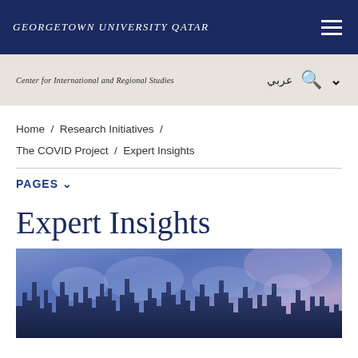GEORGETOWN UNIVERSITY QATAR
Center for International and Regional Studies
عربي
Home / Research Initiatives / The COVID Project / Expert Insights
PAGES
Expert Insights
[Figure (photo): City skyline at night with a world map overlay, blue and purple tones, showing skyscrapers and a global map superimposed over an urban landscape.]